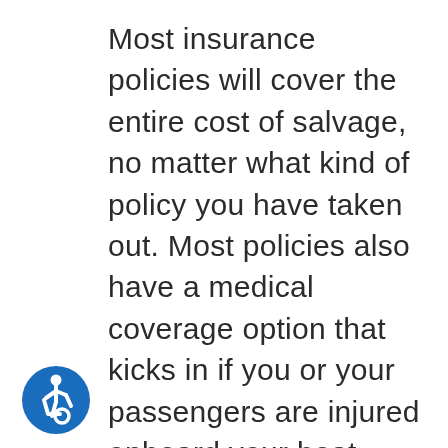Most insurance policies will cover the entire cost of salvage, no matter what kind of policy you have taken out. Most policies also have a medical coverage option that kicks in if you or your passengers are injured onboard your boat. Most policies that cover boats are also going to cover fuel spill cleanup. This kind of thing is unique to these kinds of crafts before a wreck is going to happen out on the water more often than not. These wrecks aren't going to spill glass or metal all over the highway. Instead, a boat can lead
[Figure (logo): Accessibility icon — blue circle with white wheelchair user symbol]